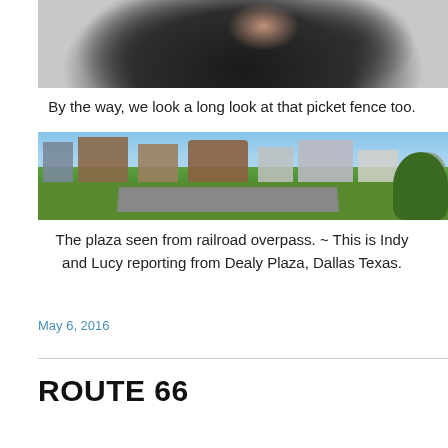[Figure (photo): Close-up photo of a dark-furred dog with tongue out, partially cropped]
By the way, we look a long look at that picket fence too.
[Figure (photo): Panoramic photo of Dealey Plaza in Dallas, Texas, seen from the railroad overpass, showing the road, buildings, and trees under a blue sky]
The plaza seen from railroad overpass.  ~  This is Indy and Lucy reporting from  Dealy Plaza, Dallas Texas.
May 6, 2016
ROUTE 66